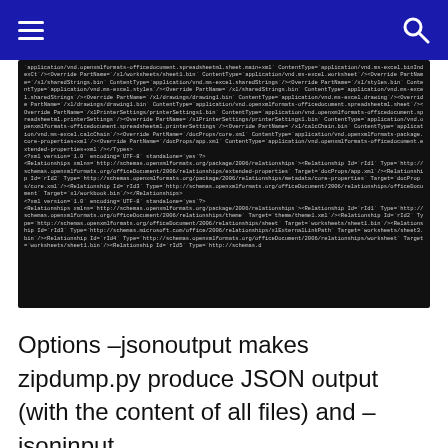Navigation header with hamburger menu and search icon
[Figure (screenshot): Dark terminal/code screenshot showing XML content of an Excel file structure with relationship definitions and XML declarations]
Options –jsonoutput makes zipdump.py produce JSON output (with the content of all files) and –jsoninput